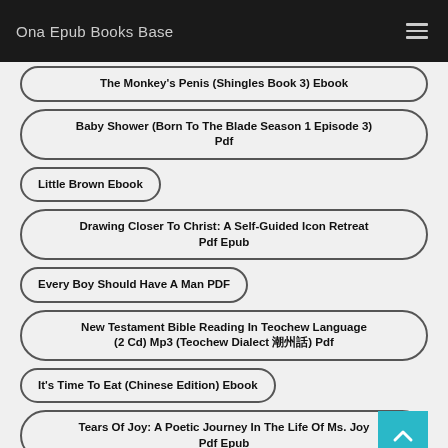Ona Epub Books Base
The Monkey's Penis (Shingles Book 3) Ebook
Baby Shower (Born To The Blade Season 1 Episode 3) Pdf
Little Brown Ebook
Drawing Closer To Christ: A Self-Guided Icon Retreat Pdf Epub
Every Boy Should Have A Man PDF
New Testament Bible Reading In Teochew Language (2 Cd) Mp3 (Teochew Dialect 潮州話) Pdf
It's Time To Eat (Chinese Edition) Ebook
Tears Of Joy: A Poetic Journey In The Life Of Ms. Joy Pdf Epub